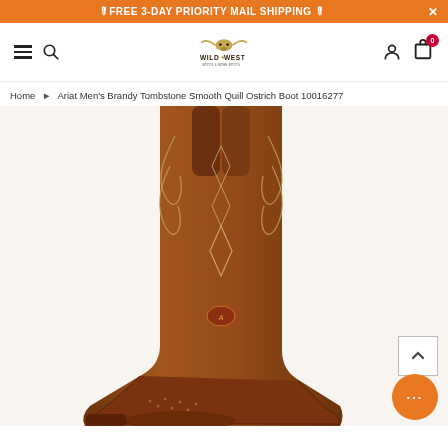🏎FREE 3-DAY PRIORITY MAIL SHIPPING 🏎
[Figure (logo): Wild West Boots & More logo with longhorn skull]
Home ▶ Ariat Men's Brandy Tombstone Smooth Quill Ostrich Boot 10016277
[Figure (photo): Brown leather cowboy boot with intricate scroll stitching and smooth quill ostrich vamp, showing shaft detail]